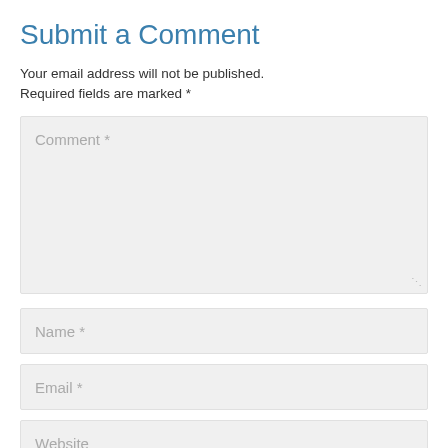Submit a Comment
Your email address will not be published. Required fields are marked *
[Figure (screenshot): Comment text area input field with placeholder text 'Comment *' and a resize handle in the bottom right corner]
[Figure (screenshot): Name input field with placeholder text 'Name *']
[Figure (screenshot): Email input field with placeholder text 'Email *']
[Figure (screenshot): Website input field with placeholder text 'Website']